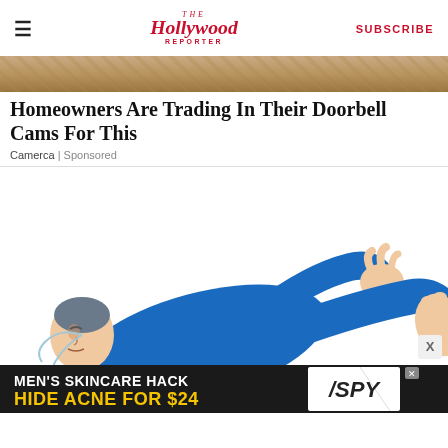The Hollywood Reporter | SUBSCRIBE
[Figure (photo): Partial hero image strip showing sandy/earthy tones at top of article]
Homeowners Are Trading In Their Doorbell Cams For This
Camerca | Sponsored
[Figure (illustration): Cartoon illustration of a person lying on their back wearing a blue outfit, with one leg raised and arms out, on a white background. An advertisement banner at bottom reads: MEN'S SKINCARE HACK / HIDE ACNE FOR $24 with SPY logo.]